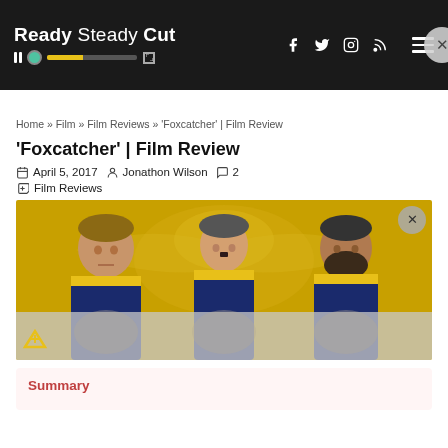Ready Steady Cut
Home » Film » Film Reviews » 'Foxcatcher' | Film Review
'Foxcatcher' | Film Review
April 5, 2017  Jonathon Wilson  2
Film Reviews
[Figure (photo): Movie promotional photo showing three men in yellow and navy wrestling team jackets against a gold background with eagle motif]
Summary